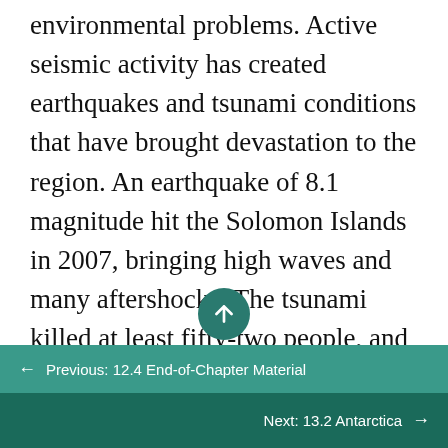environmental problems. Active seismic activity has created earthquakes and tsunami conditions that have brought devastation to the region. An earthquake of 8.1 magnitude hit the Solomon Islands in 2007, bringing high waves and many aftershocks. The tsunami killed at least fifty-two people, and as many as one thousand homes were destroyed. The islands contain several active and dormant volcanoes. Tropical rain forests cover a number of the islands and are home to rare orchids and other organisms. There is concern that these resources might be harmed by deforestation and the exploitation of resources for economic
← Previous: 12.4 End-of-Chapter Material
Next: 13.2 Antarctica →